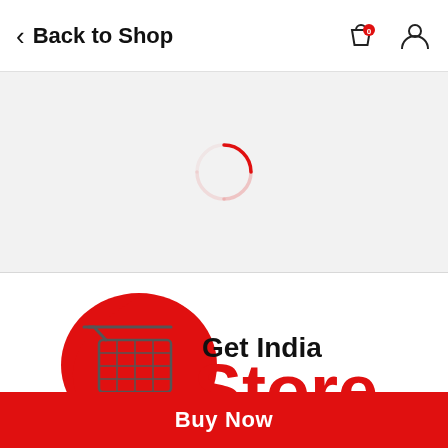Back to Shop
[Figure (other): Loading spinner — red partial circle arc indicating content loading]
[Figure (logo): Get India Store logo — red teardrop shape with shopping cart graphic on the left, 'Get India' in black text and 'Store' in large red bold text on the right]
Amazing Products at crazy prices. get india store your online digital partner. we help both customer and brands to reach
Buy Now